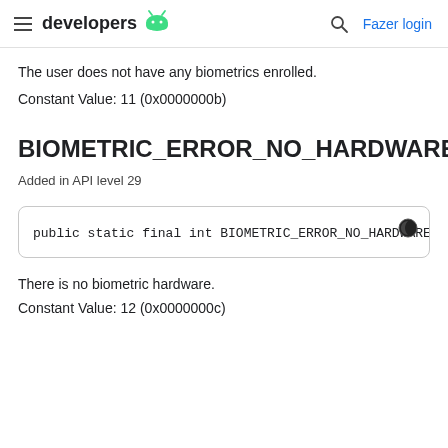developers  [Android logo]  [Search]  Fazer login
The user does not have any biometrics enrolled.
Constant Value: 11 (0x0000000b)
BIOMETRIC_ERROR_NO_HARDWARE
Added in API level 29
public static final int BIOMETRIC_ERROR_NO_HARDWARE
There is no biometric hardware.
Constant Value: 12 (0x0000000c)